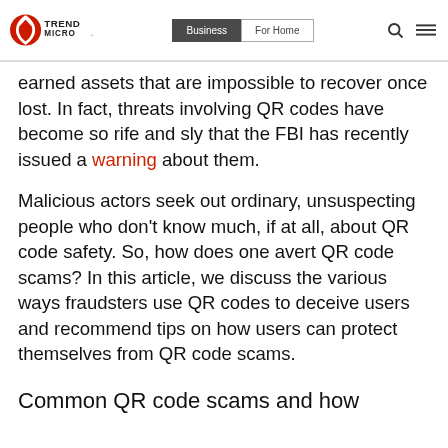Trend Micro | Business | For Home
earned assets that are impossible to recover once lost. In fact, threats involving QR codes have become so rife and sly that the FBI has recently issued a warning about them.
Malicious actors seek out ordinary, unsuspecting people who don't know much, if at all, about QR code safety. So, how does one avert QR code scams? In this article, we discuss the various ways fraudsters use QR codes to deceive users and recommend tips on how users can protect themselves from QR code scams.
Common QR code scams and how